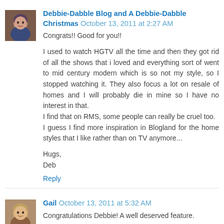Debbie-Dabble Blog and A Debbie-Dabble Christmas  October 13, 2011 at 2:27 AM
Congrats!! Good for you!!

I used to watch HGTV all the time and then they got rid of all the shows that i loved and everything sort of went to mid century modern which is so not my style, so I stopped watching it. They also focus a lot on resale of homes and I will probably die in mine so I have no interest in that.
I find that on RMS, some people can really be cruel too.
I guess I find more inspiration in Blogland for the home styles that I like rather than on TV anymore...

Hugs,
Deb
Reply
Gail  October 13, 2011 at 5:32 AM
Congratulations Debbie! A well deserved feature.